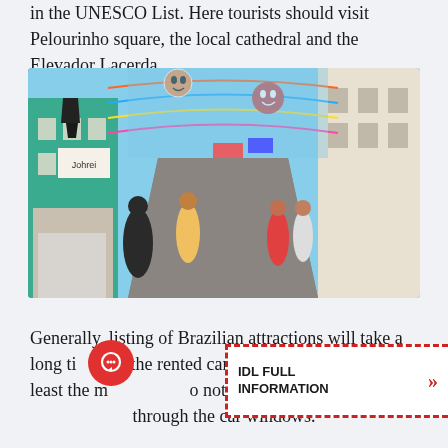in the UNESCO List. Here tourists should visit Pelourinho square, the local cathedral and the Elevador Lacerda.
[Figure (photo): A colorful, festive street scene in Pelourinho, Salvador, Brazil. Cobblestone street lined with colonial buildings decorated with banners and masks. Tourists and locals walk through the pedestrian area.]
Generally, listing of Brazilian attractions will take a long time but the rented car will allow you to visit at least the main ones. Do not miss this opportunity to look at Brazil through the car windows.